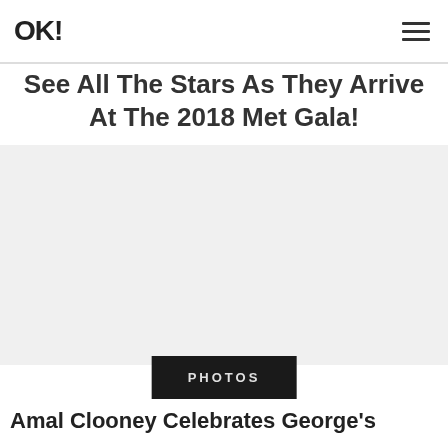OK!
See All The Stars As They Arrive At The 2018 Met Gala!
[Figure (photo): Large photo area showing stars arriving at the 2018 Met Gala (image content not visible in this crop)]
PHOTOS
Amal Clooney Celebrates George's